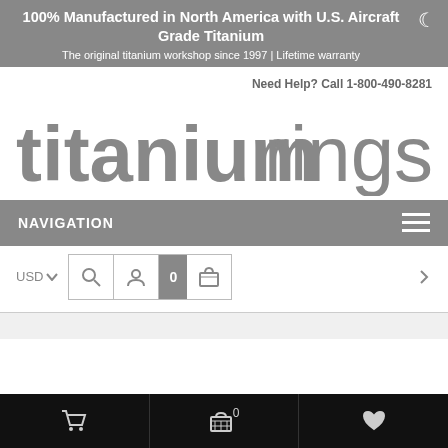100% Manufactured in North America with U.S. Aircraft Grade Titanium
The original titanium workshop since 1997 | Lifetime warranty
Need Help? Call 1-800-490-8281
[Figure (logo): titaniumrings logo in large gray text]
NAVIGATION
USD
Bottom toolbar with cart, basket (0), and heart icons